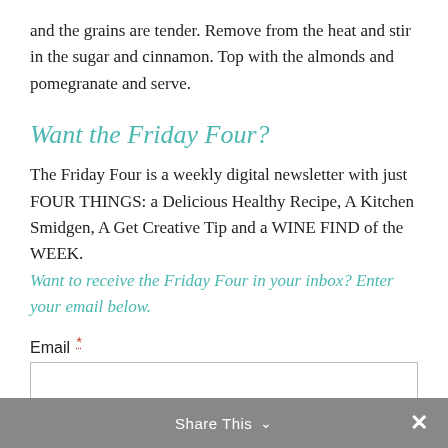and the grains are tender. Remove from the heat and stir in the sugar and cinnamon. Top with the almonds and pomegranate and serve.
Want the Friday Four?
The Friday Four is a weekly digital newsletter with just FOUR THINGS: a Delicious Healthy Recipe, A Kitchen Smidgen, A Get Creative Tip and a WINE FIND of the WEEK. Want to receive the Friday Four in your inbox? Enter your email below.
Email *
Share This ∨  ✕